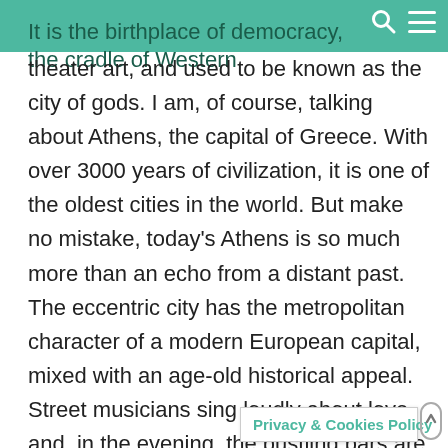It is the birthplace of democracy, the cradle of Western
theater art, and used to be known as the city of gods. I am, of course, talking about Athens, the capital of Greece. With over 3000 years of civilization, it is one of the oldest cities in the world. But make no mistake, today's Athens is so much more than an echo from a distant past. The eccentric city has the metropolitan character of a modern European capital, mixed with an age-old historical appeal. Street musicians sing loudly about love and, in the evening, the bustling bars are full of energetic students. Yet, most travellers that make it to Greece seem to skip right over this fascinating city. Trust me, Athens is a place that you'll want to see with your own eyes. To help guide your trip, check out the 10 best things to do in Athens,